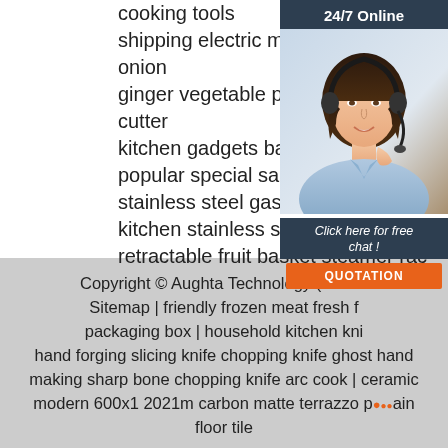cooking tools shipping electric mini garlic blender onion ginger vegetable pepper spice meat cutter kitchen gadgets baby food chopper popular special sale height 50cm 3 stainless steel gas burner cooker kitchen stainless steel steamer tray retractable fruit basket steamer rac
[Figure (photo): Customer service chat widget with '24/7 Online' header, photo of a woman wearing a headset, 'Click here for free chat!' text, and an orange 'QUOTATION' button]
Copyright © Aughta Technology (Shenz... Sitemap | friendly frozen meat fresh f... packaging box | household kitchen kni... hand forging slicing knife chopping knife ghost hand making sharp bone chopping knife arc cook | ceramic modern 600x1 2021m carbon matte terrazzo p...ain floor tile